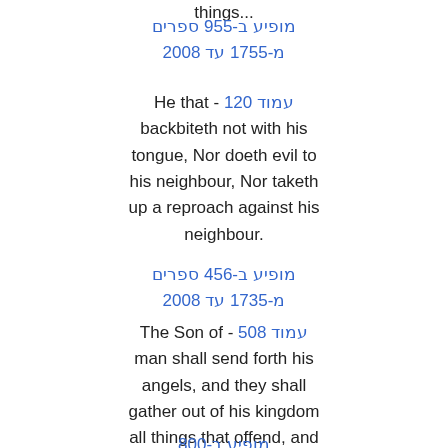things...
מופיע ב-955 ספרים
מ-1755 עד 2008
He that - עמוד 120
backbiteth not with his tongue, Nor doeth evil to his neighbour, Nor taketh up a reproach against his neighbour.
מופיע ב-456 ספרים
מ-1735 עד 2008
The Son of - עמוד 508
man shall send forth his angels, and they shall gather out of his kingdom all things that offend, and them which do iniquity, and shall cast them into a furnace of fire: there shall be wailing and gnashing of teeth.
מופיע ב-800 ספרים